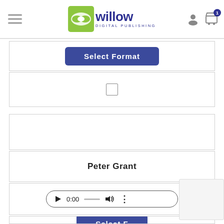[Figure (screenshot): Willow Digital Publishing website header with hamburger menu, logo, user icon, and cart icon with badge showing 1]
Select Format
[Figure (other): Empty checkbox]
Harvest
Peter Grant
[Figure (other): Audio player control showing 0:00]
Select Format (partial)